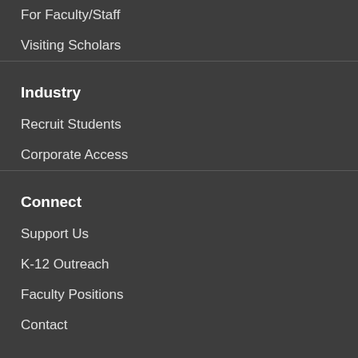For Faculty/Staff
Visiting Scholars
Industry
Recruit Students
Corporate Access
Connect
Support Us
K-12 Outreach
Faculty Positions
Contact